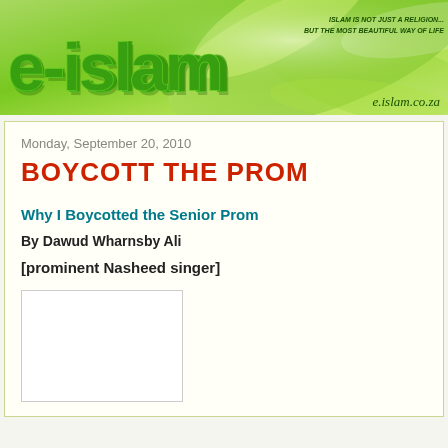[Figure (illustration): e-islam website header banner with large green 3D logo text reading 'e-islam' on a green swirling leaf background. Tagline reads 'Islam is not just a religion, but the most beautiful way of life'. Website URL e.islam.co.za shown bottom right.]
Monday, September 20, 2010
BOYCOTT THE PROM
Why I Boycotted the Senior Prom
By Dawud Wharnsby Ali
[prominent Nasheed singer]
[Figure (photo): Small white/blank image placeholder]